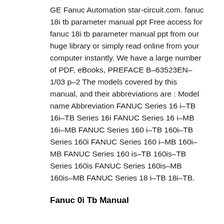GE Fanuc Automation star-circuit.com. fanuc 18i tb parameter manual ppt Free access for fanuc 18i tb parameter manual ppt from our huge library or simply read online from your computer instantly. We have a large number of PDF, eBooks, PREFACE B–63523EN–1/03 p–2 The models covered by this manual, and their abbreviations are : Model name Abbreviation FANUC Series 16 i–TB 16i–TB Series 16i FANUC Series 16 i–MB 16i–MB FANUC Series 160 i–TB 160i–TB Series 160i FANUC Series 160 i–MB 160i–MB FANUC Series 160 is–TB 160is–TB Series 160is FANUC Series 160is–MB 160is–MB FANUC Series 18 i–TB 18i–TB.
Fanuc 0i Tb Manual